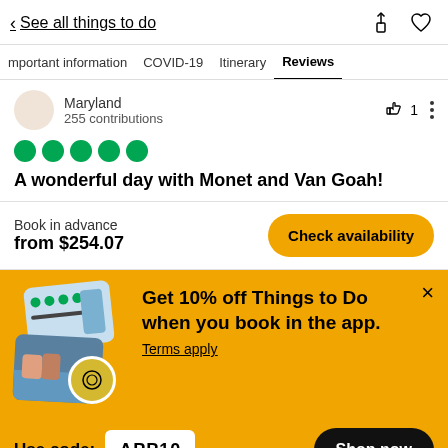< See all things to do
Important information  COVID-19  Itinerary  Reviews
Maryland
255 contributions
A wonderful day with Monet and Van Goah!
Book in advance
from $254.07
Check availability
Get 10% off Things to Do when you book in the app.
Terms apply
Use code: APP10
Shop now